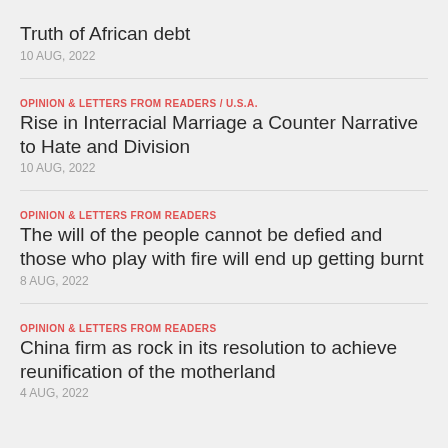Truth of African debt
10 AUG, 2022
OPINION & LETTERS FROM READERS / U.S.A.
Rise in Interracial Marriage a Counter Narrative to Hate and Division
10 AUG, 2022
OPINION & LETTERS FROM READERS
The will of the people cannot be defied and those who play with fire will end up getting burnt
8 AUG, 2022
OPINION & LETTERS FROM READERS
China firm as rock in its resolution to achieve reunification of the motherland
4 AUG, 2022